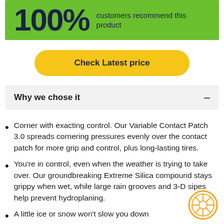[Figure (infographic): Green banner showing 100% customers recommend this product]
[Figure (infographic): Yellow rounded button labeled Check Latest price]
Why we chose it
Corner with exacting control. Our Variable Contact Patch 3.0 spreads cornering pressures evenly over the contact patch for more grip and control, plus long-lasting tires.
You're in control, even when the weather is trying to take over. Our groundbreaking Extreme Silica compound stays grippy when wet, while large rain grooves and 3-D sipes help prevent hydroplaning.
A little ice or snow won't slow you down